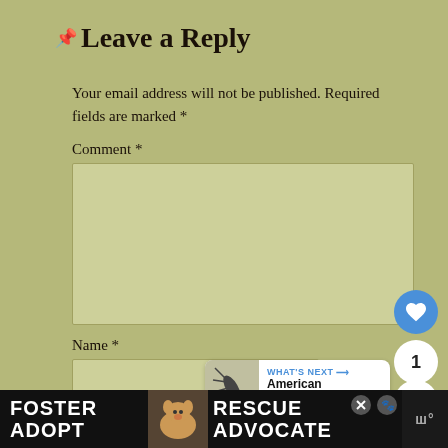Leave a Reply
Your email address will not be published. Required fields are marked *
Comment *
Name *
Email *
[Figure (infographic): UI overlay with like button (heart icon, count 1) and share button on right side, plus a 'What's Next' card showing American Pelecinid]
[Figure (infographic): Ad banner at bottom: FOSTER ADOPT with dog image, RESCUE ADVOCATE text, close icon, brand logo]